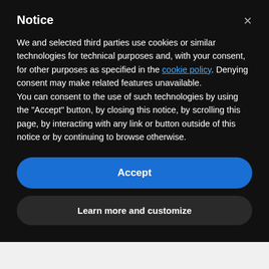Notice
We and selected third parties use cookies or similar technologies for technical purposes and, with your consent, for other purposes as specified in the cookie policy. Denying consent may make related features unavailable.
You can consent to the use of such technologies by using the "Accept" button, by closing this notice, by scrolling this page, by interacting with any link or button outside of this notice or by continuing to browse otherwise.
Accept
Learn more and customize
though the sound patterns are actually inside your head!
How are your subliminal programs